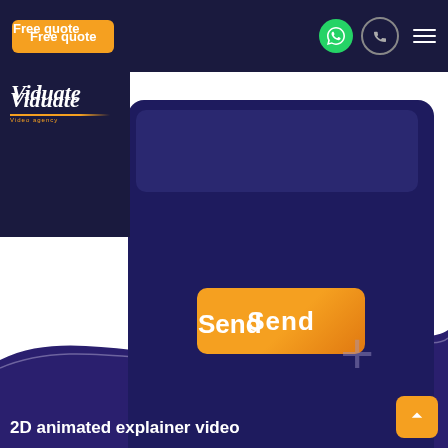[Figure (screenshot): Viduate video agency website screenshot showing a dark navy contact form card with an orange Send button, orange Free quote button in the top navigation, WhatsApp and phone icons, hamburger menu, logo, wave decoration, plus sign, scroll-up button, and '2D animated explainer video' text at bottom.]
Free quote
Viduate
Send
2D animated explainer video